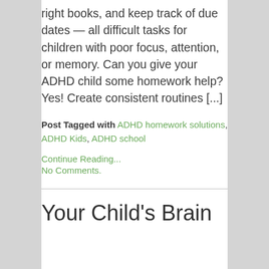right books, and keep track of due dates — all difficult tasks for children with poor focus, attention, or memory. Can you give your ADHD child some homework help? Yes! Create consistent routines [...]
Post Tagged with ADHD homework solutions, ADHD Kids, ADHD school
Continue Reading...
No Comments.
Your Child's Brain